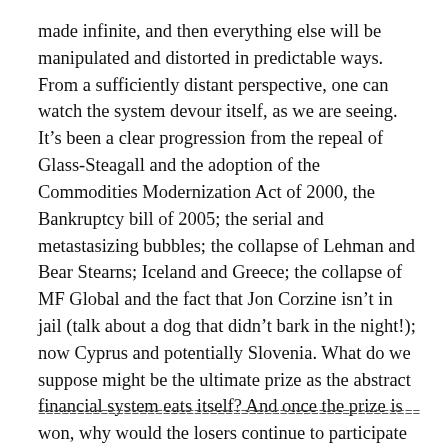made infinite, and then everything else will be manipulated and distorted in predictable ways. From a sufficiently distant perspective, one can watch the system devour itself, as we are seeing. It's been a clear progression from the repeal of Glass-Steagall and the adoption of the Commodities Modernization Act of 2000, the Bankruptcy bill of 2005; the serial and metastasizing bubbles; the collapse of Lehman and Bear Stearns; Iceland and Greece; the collapse of MF Global and the fact that Jon Corzine isn't in jail (talk about a dog that didn't bark in the night!); now Cyprus and potentially Slovenia. What do we suppose might be the ultimate prize as the abstract financial system eats itself? And once the prize is won, why would the losers continue to participate in the system, submitting meekly to abstract shackles?
==================================================